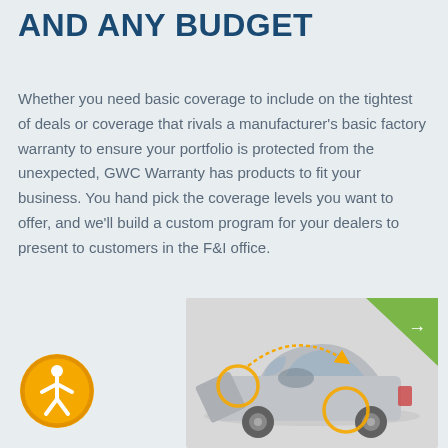AND ANY BUDGET
Whether you need basic coverage to include on the tightest of deals or coverage that rivals a manufacturer's basic factory warranty to ensure your portfolio is protected from the unexpected, GWC Warranty has products to fit your business. You hand pick the coverage levels you want to offer, and we'll build a custom program for your dealers to present to customers in the F&I office.
[Figure (illustration): Silver sedan car with open door, yellow highlight circles indicating vehicle components, and a green triangle with arrow in top-right corner]
[Figure (illustration): Orange circular accessibility icon with a person figure in the center]